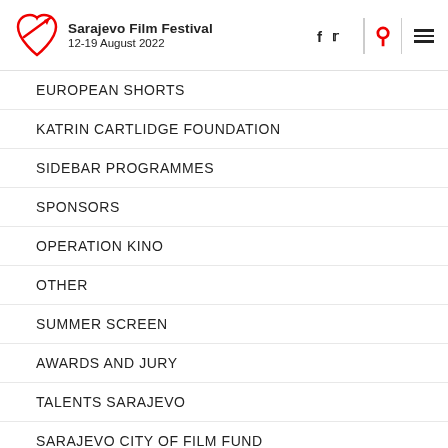Sarajevo Film Festival 12-19 August 2022
EUROPEAN SHORTS
KATRIN CARTLIDGE FOUNDATION
SIDEBAR PROGRAMMES
SPONSORS
OPERATION KINO
OTHER
SUMMER SCREEN
AWARDS AND JURY
TALENTS SARAJEVO
SARAJEVO CITY OF FILM FUND